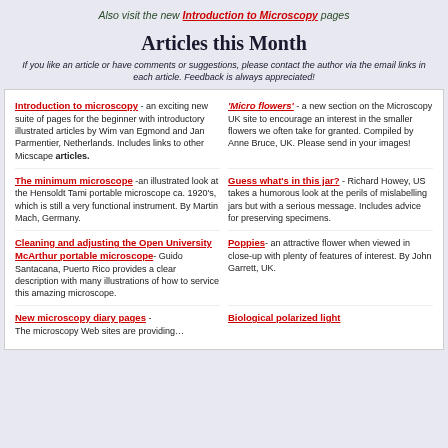Also visit the new Introduction to Microscopy pages
Articles this Month
If you like an article or have comments or suggestions, please contact the author via the email links in each article. Feedback is always appreciated!
Introduction to microscopy - an exciting new suite of pages for the beginner with introductory illustrated articles by Wim van Egmond and Jan Parmentier, Netherlands. Includes links to other Micscape articles.
'Micro flowers' - a new section on the Microscopy UK site to encourage an interest in the smaller flowers we often take for granted. Compiled by Anne Bruce, UK. Please send in your images!
The minimum microscope -an illustrated look at the Hensoldt Tami portable microscope ca. 1920's, which is still a very functional instrument. By Martin Mach, Germany.
Guess what's in this jar? - Richard Howey, US takes a humorous look at the perils of mislabelling jars but with a serious message. Includes advice for preserving specimens.
Cleaning and adjusting the Open University McArthur portable microscope- Guido Santacana, Puerto Rico provides a clear description with many illustrations of how to service this amazing microscope.
Poppies- an attractive flower when viewed in close-up with plenty of features of interest. By John Garrett, UK.
New microscopy diary pages - ...
Biological polarized light ...